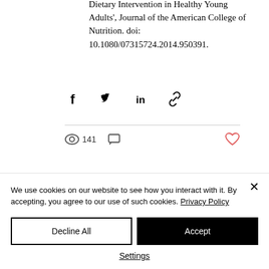Dietary Intervention in Healthy Young Adults', Journal of the American College of Nutrition. doi: 10.1080/07315724.2014.950391.
[Figure (other): Social share icons: Facebook, Twitter, LinkedIn, link/chain icon]
141 views, 0 comments, heart/like button
We use cookies on our website to see how you interact with it. By accepting, you agree to our use of such cookies. Privacy Policy
Decline All | Accept
Settings